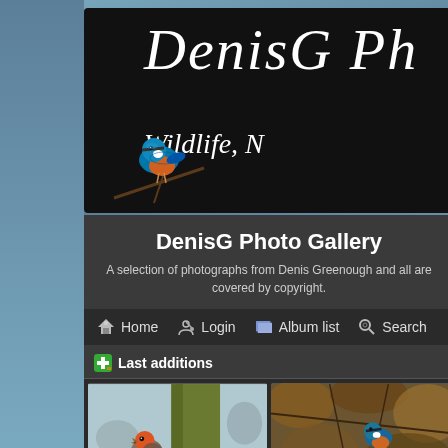[Figure (screenshot): Website header banner with black background, script font 'DenisG Ph' (cropped) text and 'Wildlife, N' subtitle, with kingfisher bird photo on left side]
DenisG Photo Gallery
A selection of photographs from Denis Greenough and all are covered by copyright.
Home  Login  Album list  Search
Last additions
[Figure (photo): Robin bird perched on branch, orange-red breast visible, green mossy tree trunk in background]
[Figure (photo): Bird among autumn foliage and branches, blurred natural background]